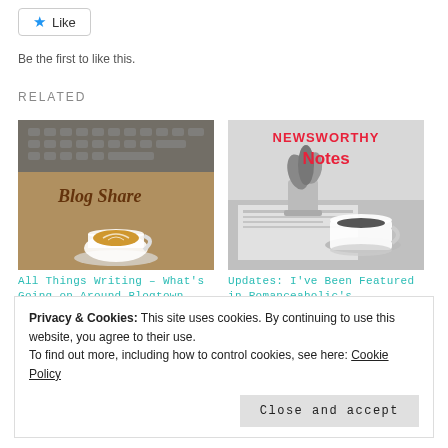Like
Be the first to like this.
RELATED
[Figure (photo): Blog Share image showing a laptop keyboard and a cup of latte art coffee with text 'Blog Share' overlaid]
All Things Writing – What's Going on Around Blogtown this
[Figure (photo): Newsworthy Notes image showing a grayscale photo of a coffee cup, plant, and newspaper with red text 'NEWSWORTHY Notes' overlaid]
Updates: I've Been Featured in Romanceaholic's
Privacy & Cookies: This site uses cookies. By continuing to use this website, you agree to their use.
To find out more, including how to control cookies, see here: Cookie Policy
Close and accept